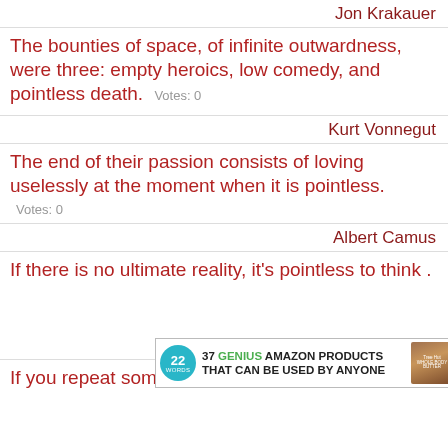Jon Krakauer
The bounties of space, of infinite outwardness, were three: empty heroics, low comedy, and pointless death. Votes: 0
Kurt Vonnegut
The end of their passion consists of loving uselessly at the moment when it is pointless. Votes: 0
Albert Camus
If there is no ultimate reality, it's pointless to think ...
Alister E. McGrath
If you repeat something, it can become